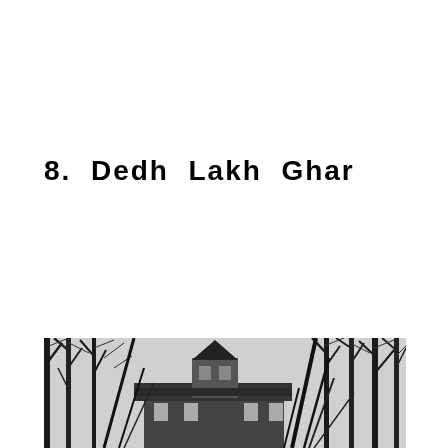8.  Dedh  Lakh  Ghar
[Figure (photo): Black and white photograph of a historic building with a pointed tower/turret, partially obscured by bare winter trees in the foreground. The building appears to have a dark shingled roof and multiple levels.]